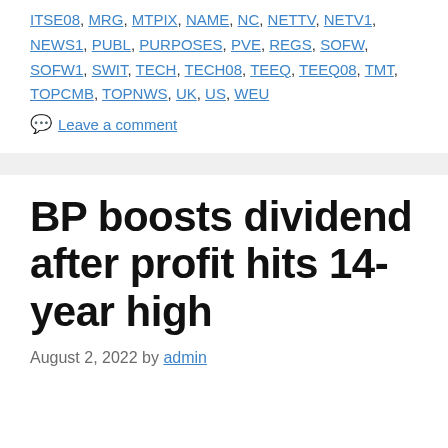ITSE08, MRG, MTPIX, NAME, NC, NETTV, NETV1, NEWS1, PUBL, PURPOSES, PVE, REGS, SOFW, SOFW1, SWIT, TECH, TECH08, TEEQ, TEEQ08, TMT, TOPCMB, TOPNWS, UK, US, WEU
Leave a comment
BP boosts dividend after profit hits 14-year high
August 2, 2022 by admin